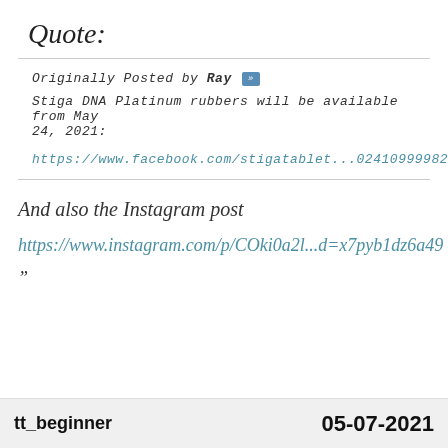Quote:
Originally Posted by Ray
Stiga DNA Platinum rubbers will be available from May 24, 2021:
https://www.facebook.com/stigatablet...024109999828753
And also the Instagram post
https://www.instagram.com/p/COki0a2l...d=x7pyb1dz6a49
”
tt_beginner   05-07-2021